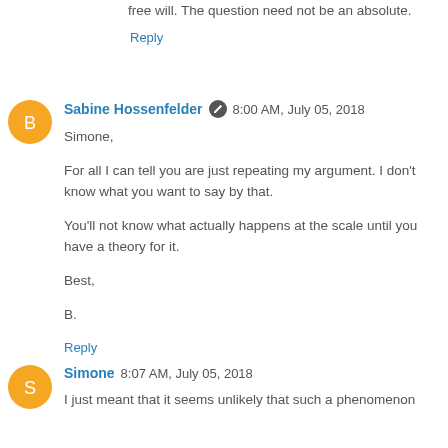free will. The question need not be an absolute.
Reply
Sabine Hossenfelder  8:00 AM, July 05, 2018
Simone,

For all I can tell you are just repeating my argument. I don't know what you want to say by that.

You'll not know what actually happens at the scale until you have a theory for it.

Best,

B.
Reply
Simone  8:07 AM, July 05, 2018
I just meant that it seems unlikely that such a phenomenon